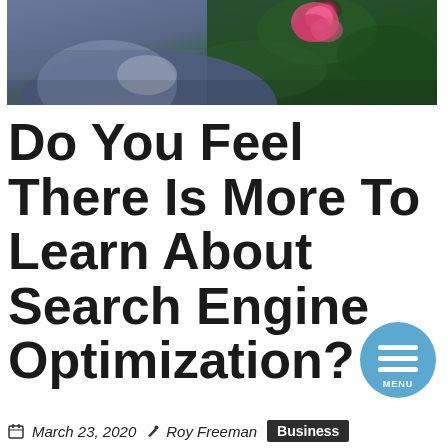[Figure (photo): Partial view of a person in a grey blazer with a pink/red rose and green foliage in the background]
Do You Feel There Is More To Learn About Search Engine Optimization?
March 23, 2020  Roy Freeman  Business